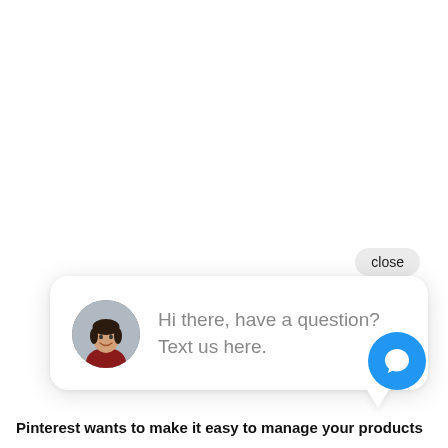[Figure (screenshot): A chat widget popup showing a close button, a chat bubble with a female avatar and the message 'Hi there, have a question? Text us here.', and a blue circular chat icon button.]
close
Hi there, have a question? Text us here.
Pinterest wants to make it easy to manage your products